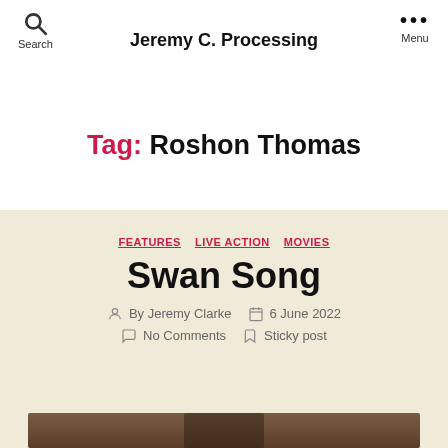Jeremy C. Processing
Tag: Roshon Thomas
FEATURES  LIVE ACTION  MOVIES
Swan Song
By Jeremy Clarke  6 June 2022  No Comments  Sticky post
[Figure (photo): Bottom portion of a photo, showing wooden furniture/background, partially visible]